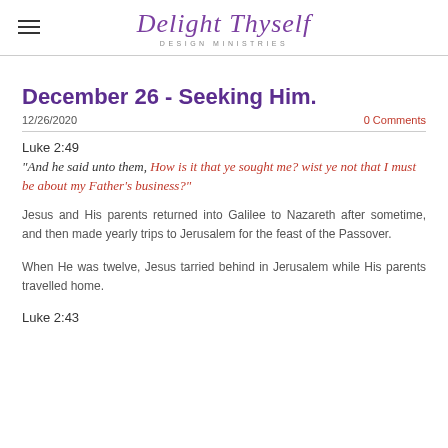Delight Thyself DESIGN MINISTRIES
December 26 - Seeking Him.
12/26/2020
0 Comments
Luke 2:49
"And he said unto them, How is it that ye sought me? wist ye not that I must be about my Father's business?"
Jesus and His parents returned into Galilee to Nazareth after sometime, and then made yearly trips to Jerusalem for the feast of the Passover.
When He was twelve, Jesus tarried behind in Jerusalem while His parents travelled home.
Luke 2:43